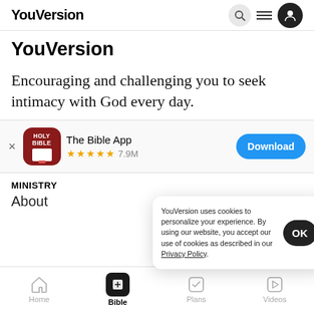YouVersion
YouVersion
Encouraging and challenging you to seek intimacy with God every day.
[Figure (screenshot): App store banner: The Bible App icon (red with Holy Bible text and book), 4 gold stars, 7.9M ratings, Download button in blue]
MINISTRY
About
YouVersion uses cookies to personalize your experience. By using our website, you accept our use of cookies as described in our Privacy Policy.
Home   Bible   Plans   Videos